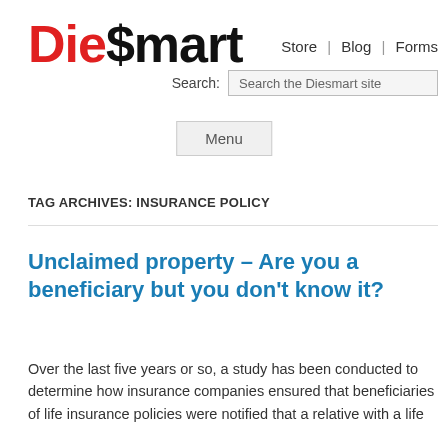[Figure (logo): Die$mart logo with 'Die' in red and '$mart' in black, bold large text]
Store | Blog | Forms
Search: Search the Diesmart site
Menu
TAG ARCHIVES: INSURANCE POLICY
Unclaimed property – Are you a beneficiary but you don't know it?
Over the last five years or so, a study has been conducted to determine how insurance companies ensured that beneficiaries of life insurance policies were notified that a relative with a life